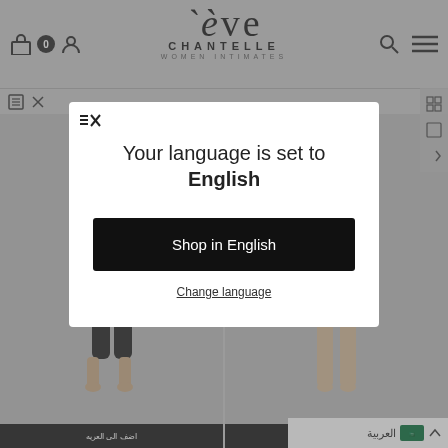[Figure (screenshot): Eve Chantelle women intimates e-commerce website header with logo, navigation icons (bag with 0 badge, user icon, search, menu), and product thumbnails showing women in black leggings/shorts. A language selection modal overlay is displayed showing 'Your language is set to English' with a 'Shop in English' button and 'Change language' link.]
Your language is set to English
Shop in English
Change language